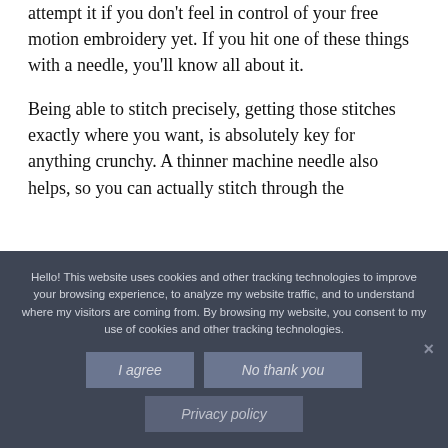attempt it if you don't feel in control of your free motion embroidery yet. If you hit one of these things with a needle, you'll know all about it.
Being able to stitch precisely, getting those stitches exactly where you want, is absolutely key for anything crunchy. A thinner machine needle also helps, so you can actually stitch through the
Hello! This website uses cookies and other tracking technologies to improve your browsing experience, to analyze my website traffic, and to understand where my visitors are coming from. By browsing my website, you consent to my use of cookies and other tracking technologies.
I agree
No thank you
Privacy policy